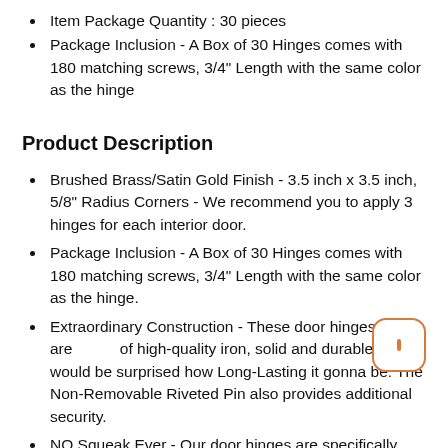Item Package Quantity : 30 pieces
Package Inclusion - A Box of 30 Hinges comes with 180 matching screws, 3/4" Length with the same color as the hinge
Product Description
Brushed Brass/Satin Gold Finish - 3.5 inch x 3.5 inch, 5/8" Radius Corners - We recommend you to apply 3 hinges for each interior door.
Package Inclusion - A Box of 30 Hinges comes with 180 matching screws, 3/4" Length with the same color as the hinge.
Extraordinary Construction - These door hinges are made of high-quality iron, solid and durable, you would be surprised how Long-Lasting it gonna be. The Non-Removable Riveted Pin also provides additional security.
NO Squeak Ever - Our door hinges are specifically manufactured with Electroplating Coatings. They are highly